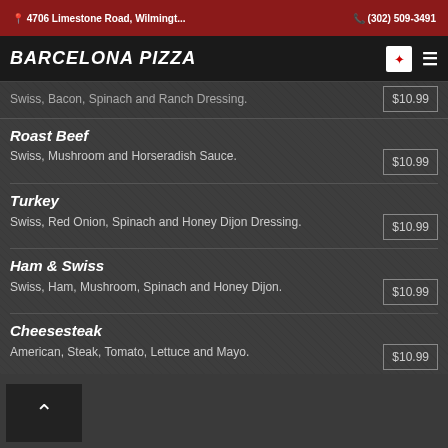4706 Limestone Road, Wilmingt... (302) 509-3491
BARCELONA PIZZA
Swiss, Bacon, Spinach and Ranch Dressing. $10.99
Roast Beef
Swiss, Mushroom and Horseradish Sauce. $10.99
Turkey
Swiss, Red Onion, Spinach and Honey Dijon Dressing. $10.99
Ham & Swiss
Swiss, Ham, Mushroom, Spinach and Honey Dijon. $10.99
Cheesesteak
American, Steak, Tomato, Lettuce and Mayo. $10.99